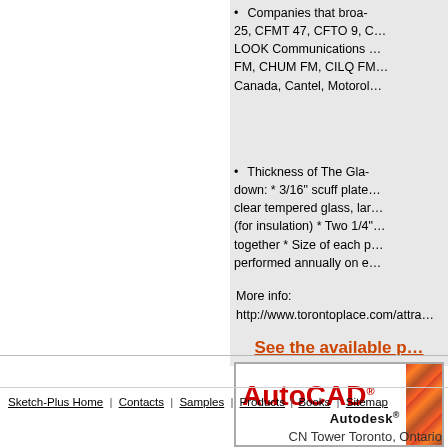Companies that broa... 25, CFMT 47, CFTO 9, LOOK Communications ... FM, CHUM FM, CILQ FM... Canada, Cantel, Motorol...
Thickness of The Gla... down: * 3/16" scuff plate... clear tempered glass, la... (for insulation) * Two 1/4"... together * Size of each p... performed annually on e...
More info:
http://www.torontoplace.com/attra...
See the available p...
[Figure (logo): AutoCAD Autodesk logo banner with red AutoCAD text and Autodesk in black, with colorful image strip on right]
Sketch-Plus Home | Contacts | Samples | Products | Books | Sitemap
CN Tower Toronto, Ontario